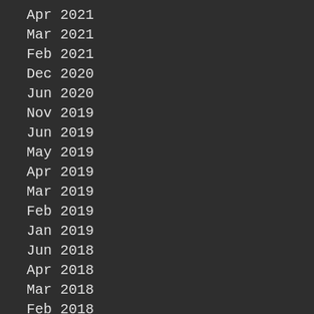Apr 2021
Mar 2021
Feb 2021
Dec 2020
Jun 2020
Nov 2019
Jun 2019
May 2019
Apr 2019
Mar 2019
Feb 2019
Jan 2019
Jun 2018
Apr 2018
Mar 2018
Feb 2018
Dec 2017